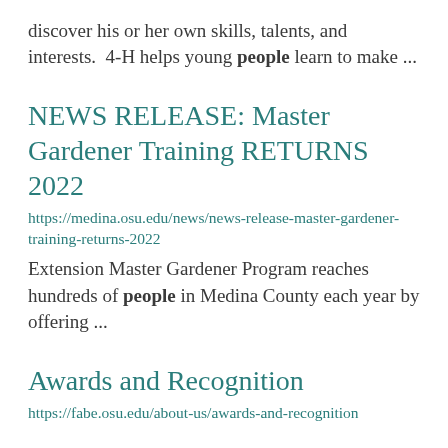discover his or her own skills, talents, and interests.  4-H helps young people learn to make ...
NEWS RELEASE: Master Gardener Training RETURNS 2022
https://medina.osu.edu/news/news-release-master-gardener-training-returns-2022
Extension Master Gardener Program reaches hundreds of people in Medina County each year by offering ...
Awards and Recognition
https://fabe.osu.edu/about-us/awards-and-recognition